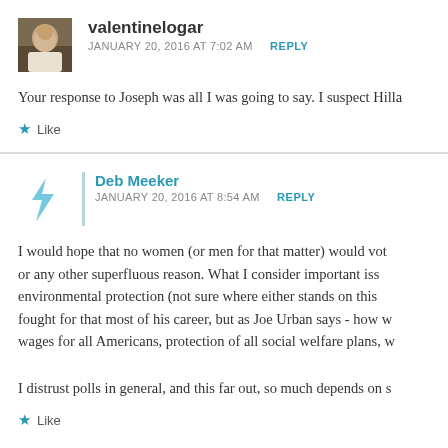[Figure (photo): Avatar photo of valentinelogar - person in white clothing]
valentinelogar
JANUARY 20, 2016 AT 7:02 AM   REPLY
Your response to Joseph was all I was going to say. I suspect Hilla
Like
[Figure (illustration): Stylized teal arrow/logo icon for Deb Meeker avatar]
Deb Meeker
JANUARY 20, 2016 AT 8:54 AM   REPLY
I would hope that no women (or men for that matter) would vot or any other superfluous reason. What I consider important iss environmental protection (not sure where either stands on this fought for that most of his career, but as Joe Urban says - how w wages for all Americans, protection of all social welfare plans, w
I distrust polls in general, and this far out, so much depends on s
Like